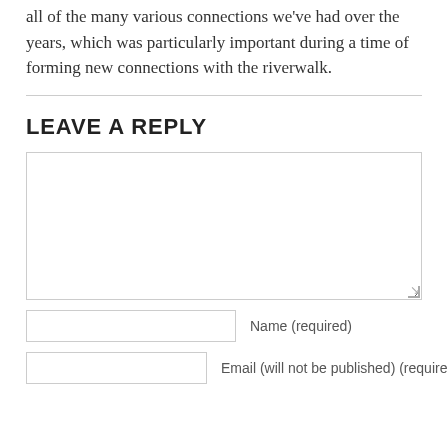all of the many various connections we've had over the years, which was particularly important during a time of forming new connections with the riverwalk.
LEAVE A REPLY
[comment textarea]
Name (required)
Email (will not be published) (required)